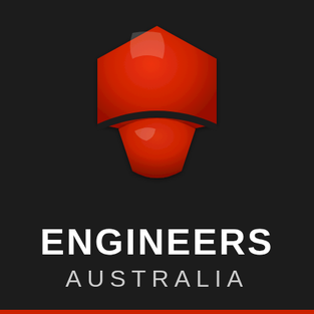[Figure (logo): Engineers Australia logo: a red 3D hexagonal shield shape with a curved lower segment forming a fan/wedge shape below, with glossy highlights, on a dark near-black background. Below the logo is the text ENGINEERS AUSTRALIA in white. A red horizontal bar runs along the very bottom edge of the image.]